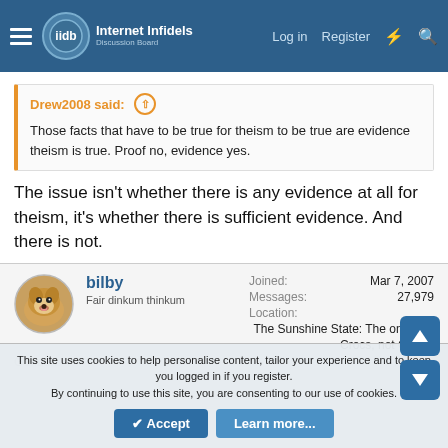Internet Infidels — Log in  Register
Drew2008 said: ↑
Those facts that have to be true for theism to be true are evidence theism is true. Proof no, evidence yes.
The issue isn't whether there is any evidence at all for theism, it's whether there is sufficient evidence. And there is not.
bilby
Fair dinkum thinkum
Joined: Mar 7, 2007
Messages: 27,979
Location: The Sunshine State: The one with Crocs, not Gators
This site uses cookies to help personalise content, tailor your experience and to keep you logged in if you register.
By continuing to use this site, you are consenting to our use of cookies.
✔ Accept   Learn more...